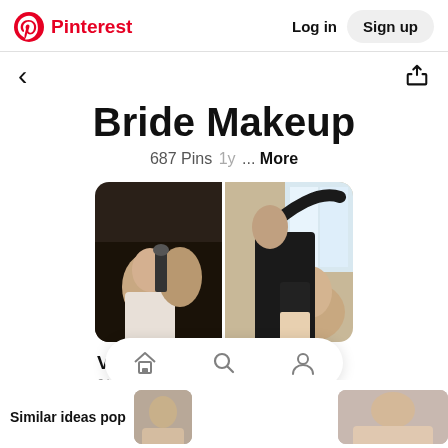Pinterest  Log in  Sign up
Bride Makeup
687 Pins  1y  ...  More
[Figure (photo): Two-image collage of makeup artists working on brides]
Veil of Grace
Similar ideas pop
[Figure (photo): Bottom navigation bar with home, search, and profile icons]
[Figure (photo): Thumbnail image bottom left]
[Figure (photo): Thumbnail image bottom right]